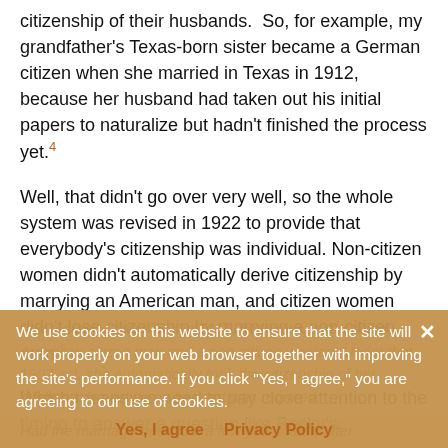citizenship of their husbands. So, for example, my grandfather's Texas-born sister became a German citizen when she married in Texas in 1912, because her husband had taken out his initial papers to naturalize but hadn't finished the process yet.4
Well, that didn't go over very well, so the whole system was revised in 1922 to provide that everybody's citizenship was individual. Non-citizen women didn't automatically derive citizenship by marrying an American man, and citizen women didn't lose citizenship by marrying a non-citizen man.5
Which means we need to pay close attention to the timing to answer a question like Becky's.
The marriage there was in 1916, between a naturalized American citizen man and a non-citizen woman. Under that 1907 act, she automatically took the citizenship of her husband. No action on her part was required.
We use cookies on this website to ensure that the site will work properly on your web browser together with improving the site's performance. If you click "Yes, I agree," you are agreeing to our use of cookies.
Yes, I agree   Privacy Policy
Had the marriage been just a few years later, after